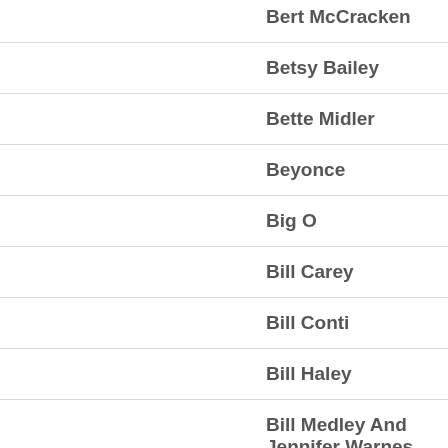Bert McCracken
Betsy Bailey
Bette Midler
Beyonce
Big O
Bill Carey
Bill Conti
Bill Haley
Bill Medley And Jennifer Warnes
Bill Withers
Billie Eilish
Billy Joel